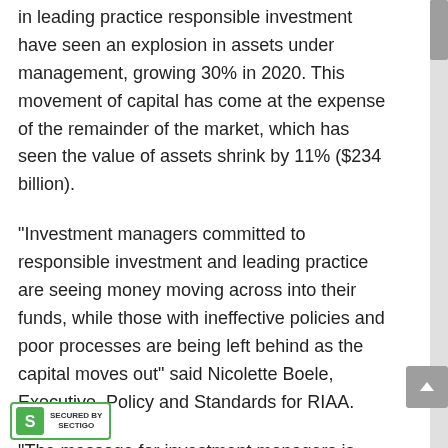in leading practice responsible investment have seen an explosion in assets under management, growing 30% in 2020. This movement of capital has come at the expense of the remainder of the market, which has seen the value of assets shrink by 11% ($234 billion).
"Investment managers committed to responsible investment and leading practice are seeing money moving across into their funds, while those with ineffective policies and poor processes are being left behind as the capital moves out" said Nicolette Boele, Executive, Policy and Standards for RIAA.
"The message for investment managers is clear. It's not good enough to simply claim you're investing responsibly. If you're not doing it well, there's a high risk...